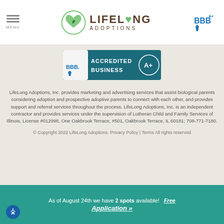MENU | LIFELONG ADOPTIONS | BBB
[Figure (logo): BBB Accredited Business A+ badge]
LifeLong Adoptions, Inc. provides marketing and advertising services that assist biological parents considering adoption and prospective adoptive parents to connect with each other, and provides support and referral services throughout the process. LifeLong Adoptions, Inc. is an independent contractor and provides services under the supervision of Lutheran Child and Family Services of Illinois, License #012998, One Oakbrook Terrace, #501, Oakbrook Terrace, IL 60181; 708-771-7180.
© Copyright 2022 LifeLong Adoptions. Privacy Policy | Terms All rights reserved
As of August 24th we have 2 spots available! Free Application »